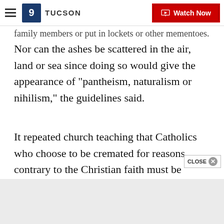TUCSON | Watch Now
family members or put in lockets or other mementoes. Nor can the ashes be scattered in the air, land or sea since doing so would give the appearance of "pantheism, naturalism or nihilism," the guidelines said.
It repeated church teaching that Catholics who choose to be cremated for reasons contrary to the Christian faith must be denied a Christian funeral.
The new instruction carries an Aug. 15 date and says Pope Francis approved it March 18. It wasn't clear if the guidelines were retroactive or hat Catholics...